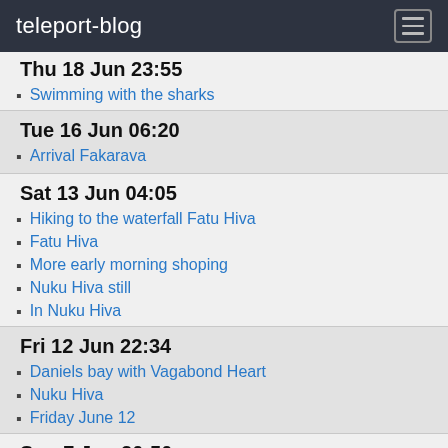teleport-blog
Thu 18 Jun 23:55
Swimming with the sharks
Tue 16 Jun 06:20
Arrival Fakarava
Sat 13 Jun 04:05
Hiking to the waterfall Fatu Hiva
Fatu Hiva
More early morning shoping
Nuku Hiva still
In Nuku Hiva
Fri 12 Jun 22:34
Daniels bay with Vagabond Heart
Nuku Hiva
Friday June 12
Sun 7 Jun 20:50
7 June N/N
June 6
Sat 6 Jun 08:58